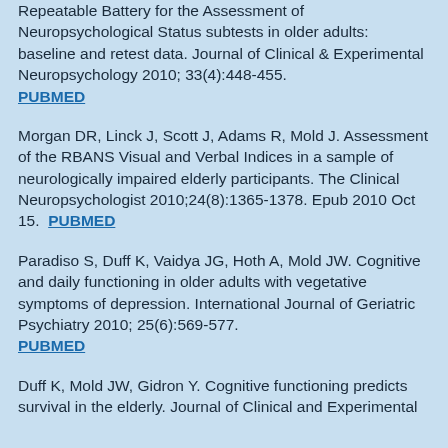Repeatable Battery for the Assessment of Neuropsychological Status subtests in older adults: baseline and retest data. Journal of Clinical & Experimental Neuropsychology 2010; 33(4):448-455. PUBMED
Morgan DR, Linck J, Scott J, Adams R, Mold J. Assessment of the RBANS Visual and Verbal Indices in a sample of neurologically impaired elderly participants. The Clinical Neuropsychologist 2010;24(8):1365-1378. Epub 2010 Oct 15. PUBMED
Paradiso S, Duff K, Vaidya JG, Hoth A, Mold JW. Cognitive and daily functioning in older adults with vegetative symptoms of depression. International Journal of Geriatric Psychiatry 2010; 25(6):569-577. PUBMED
Duff K, Mold JW, Gidron Y. Cognitive functioning predicts survival in the elderly. Journal of Clinical and Experimental